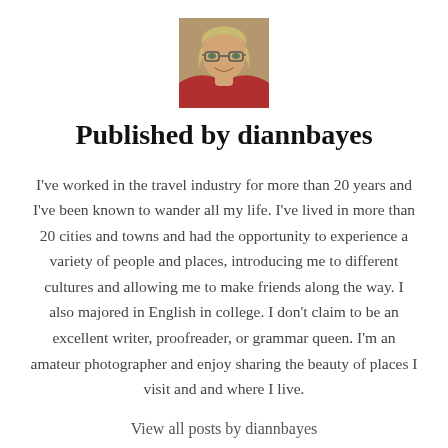[Figure (photo): Headshot photo of a woman with glasses and blonde hair, wearing a red top, smiling]
Published by diannbayes
I've worked in the travel industry for more than 20 years and I've been known to wander all my life. I've lived in more than 20 cities and towns and had the opportunity to experience a variety of people and places, introducing me to different cultures and allowing me to make friends along the way. I also majored in English in college. I don't claim to be an excellent writer, proofreader, or grammar queen. I'm an amateur photographer and enjoy sharing the beauty of places I visit and and where I live.
View all posts by diannbayes